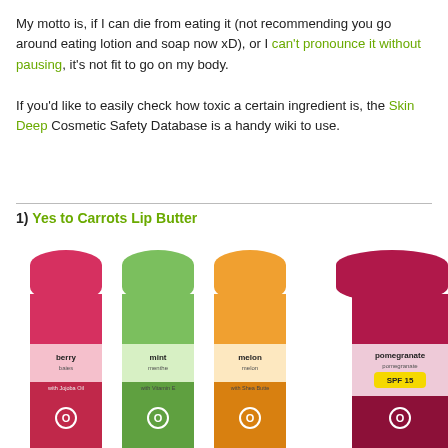My motto is, if I can die from eating it (not recommending you go around eating lotion and soap now xD), or I can't pronounce it without pausing, it's not fit to go on my body.
If you'd like to easily check how toxic a certain ingredient is, the Skin Deep Cosmetic Safety Database is a handy wiki to use.
1) Yes to Carrots Lip Butter
[Figure (photo): Four Yes to Carrots Lip Butter sticks in different flavors: berry (pink), mint (green), melon (orange), and pomegranate (dark pink with SPF 15 badge). Each stick shows the flavor name, a small fruit/leaf icon, and a sub-label (e.g., 'with Jojoba Oil', 'with Vitamin E', 'with Shea Butter'). The sticks are partially visible cut off at the bottom.]